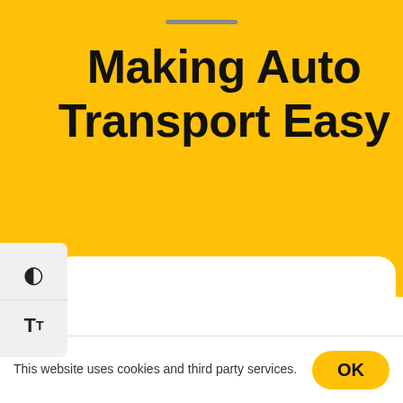[Figure (screenshot): Yellow background app screen with drag handle bar at top]
Making Auto Transport Easy
[Figure (infographic): White rounded card panel overlay on yellow background with two sidebar icon buttons: contrast icon and text size icon]
This website uses cookies and third party services.
OK